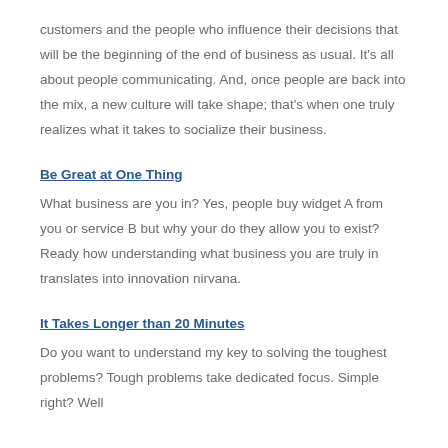customers and the people who influence their decisions that will be the beginning of the end of business as usual. It's all about people communicating. And, once people are back into the mix, a new culture will take shape; that's when one truly realizes what it takes to socialize their business.
Be Great at One Thing
What business are you in? Yes, people buy widget A from you or service B but why your do they allow you to exist? Ready how understanding what business you are truly in translates into innovation nirvana.
It Takes Longer than 20 Minutes
Do you want to understand my key to solving the toughest problems? Tough problems take dedicated focus. Simple right? Well